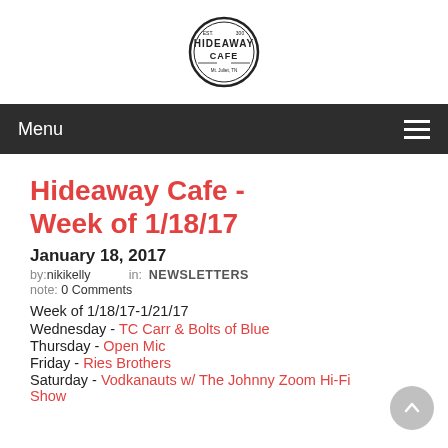[Figure (logo): Hideaway Cafe circular logo]
Menu
Hideaway Cafe - Week of 1/18/17
January 18, 2017
by: nikikelly   in: NEWSLETTERS
note: 0 Comments
Week of 1/18/17-1/21/17
Wednesday - TC Carr & Bolts of Blue
Thursday - Open Mic
Friday - Ries Brothers
Saturday - Vodkanauts w/ The Johnny Zoom Hi-Fi Show